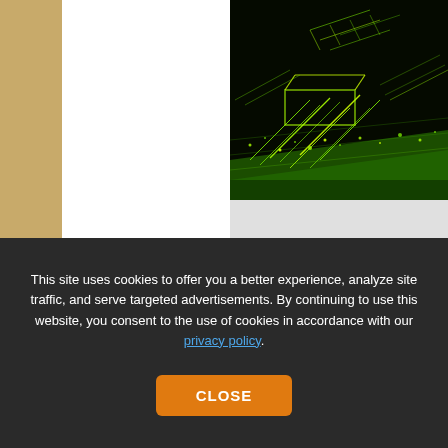[Figure (photo): LiDAR point cloud visualization showing green 3D scan data of objects on a dark/black background, viewed from an angle]
INS survey: point clouds
The principal method of collecting point-cloud data is by using L... off of objects. The difference is that radio uses large wavelength...
The time for light to return to the device is used with the speed ...
This site uses cookies to offer you a better experience, analyze site traffic, and serve targeted advertisements. By continuing to use this website, you consent to the use of cookies in accordance with our privacy policy.